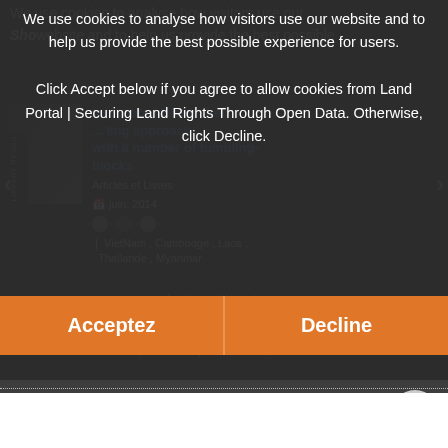We use cookies to analyse how visitors use our website and to help us provide the best possible experience for users. Click Accept below if you agree to allow cookies from Land Portal | Securing Land Rights Through Open Data. Otherwise, click Decline.
[Figure (screenshot): Cookie consent modal overlay on a Land Portal website page. The overlay contains cookie usage text and two orange buttons: 'Acceptez' and 'Decline'. Behind the overlay is a webpage showing article cards including 'Integrated Watershed...' with navigation arrows, article metadata (Articles et Livres, juin 2014, VietNam, Cambodge, Laos, Thaïlande, Myanmar), carousel dots, and partial description text about management of water catchment areas. Below a dotted divider is another article card 'Farmer-to-farmer knowledge exchange' with a scroll-to-top button.]